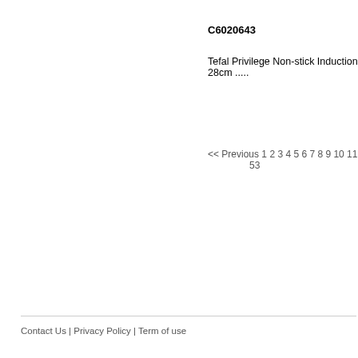C6020643
Tefal Privilege Non-stick Induction F 28cm .....
<< Previous 1 2 3 4 5 6 7 8 9 10 11 12 13 53
Contact Us | Privacy Policy | Term of use